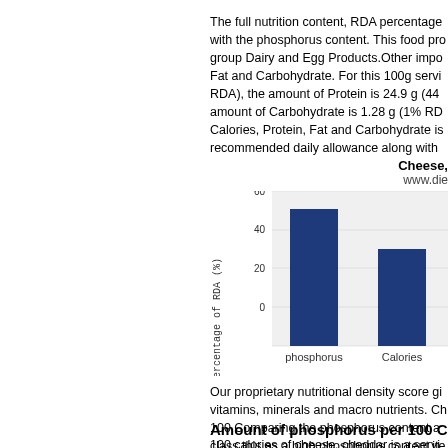The full nutrition content, RDA percentage with the phosphorus content. This food product belongs to the group Dairy and Egg Products. Other important nutrients are Fat and Carbohydrate. For this 100g serving, the amount of Protein is 24.9 g (44% RDA), the amount of Carbohydrate is 1.28 g (1% RDA). Calories, Protein, Fat and Carbohydrate is the recommended daily allowance along with
[Figure (bar-chart): Cheese,]
Our proprietary nutritional density score gives vitamins, minerals and macro nutrients. Cheese = 100. Comparing the phosphorus content and class this as a high phosphorus content item with a medium nutritional density value.
Amount of phosphorus per 100 C
100 calories of cheese, cheddar is a serving (10-20% RDA). Other important